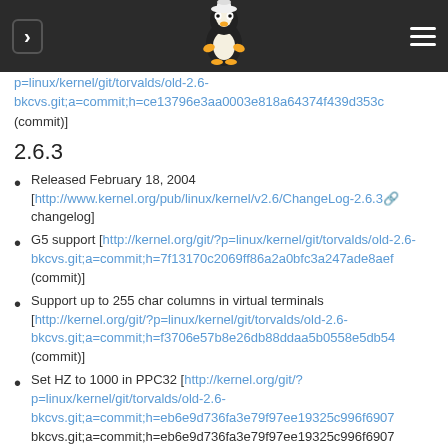Linux kernel changelog page header with navigation arrow, Tux logo, and menu icon
p=linux/kernel/git/torvalds/old-2.6-bkcvs.git;a=commit;h=ce13796e3aa0003e818a64374f439d353c (commit)]
2.6.3
Released February 18, 2004 [http://www.kernel.org/pub/linux/kernel/v2.6/ChangeLog-2.6.3 changelog]
G5 support [http://kernel.org/git/?p=linux/kernel/git/torvalds/old-2.6-bkcvs.git;a=commit;h=7f13170c2069ff86a2a0bfc3a247ade8aef (commit)]
Support up to 255 char columns in virtual terminals [http://kernel.org/git/?p=linux/kernel/git/torvalds/old-2.6-bkcvs.git;a=commit;h=f3706e57b8e26db88ddaa5b0558e5db54 (commit)]
Set HZ to 1000 in PPC32 [http://kernel.org/git/?p=linux/kernel/git/torvalds/old-2.6-bkcvs.git;a=commit;h=eb6e9d736fa3e79f97ee19325c996f6907